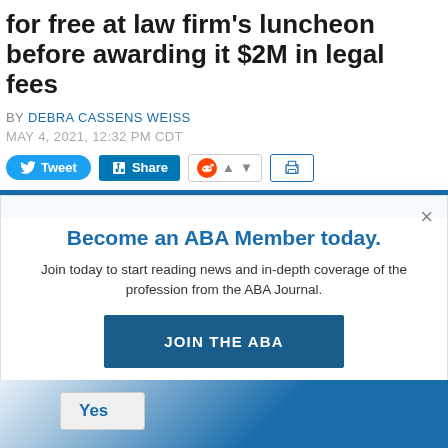for free at law firm's luncheon before awarding it $2M in legal fees
BY DEBRA CASSENS WEISS
MAY 4, 2021, 12:32 PM CDT
[Figure (screenshot): Social sharing buttons row: Tweet button (blue, Twitter bird icon), Share button (LinkedIn blue), Reddit icon with upvote/downvote arrows, and a print button]
[Figure (screenshot): Blue horizontal band/banner]
Become an ABA Member today.
Join today to start reading news and in-depth coverage of the profession from the ABA Journal.
JOIN THE ABA
Already an ABA Member? Sign in
Yes